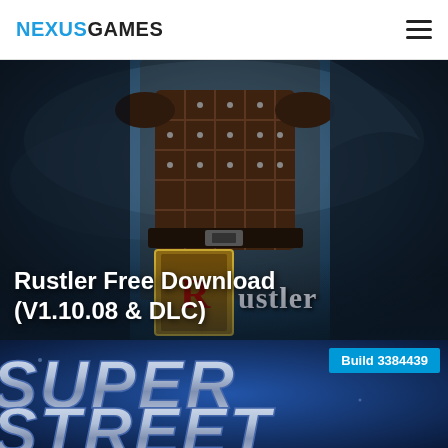NEXUSGAMES
[Figure (screenshot): Game cover image for Rustler showing an armored medieval character against a dark blue background, with the Rustler logo visible at the bottom]
Rustler Free Download (V1.10.08 & DLC)
[Figure (screenshot): Game cover image for Super Street with large metallic text reading SUPER STREET on a blue background]
Build 3384439